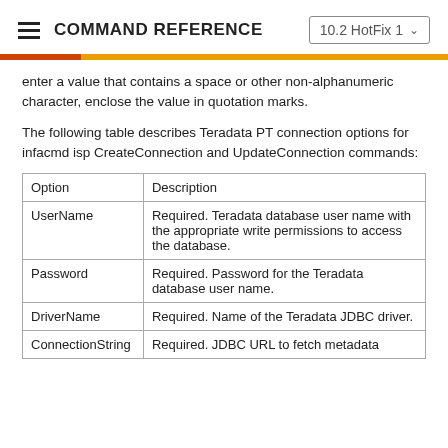COMMAND REFERENCE  10.2 HotFix 1
enter a value that contains a space or other non-alphanumeric character, enclose the value in quotation marks.
The following table describes Teradata PT connection options for infacmd isp CreateConnection and UpdateConnection commands:
| Option | Description |
| --- | --- |
| UserName | Required. Teradata database user name with the appropriate write permissions to access the database. |
| Password | Required. Password for the Teradata database user name. |
| DriverName | Required. Name of the Teradata JDBC driver. |
| ConnectionString | Required. JDBC URL to fetch metadata |